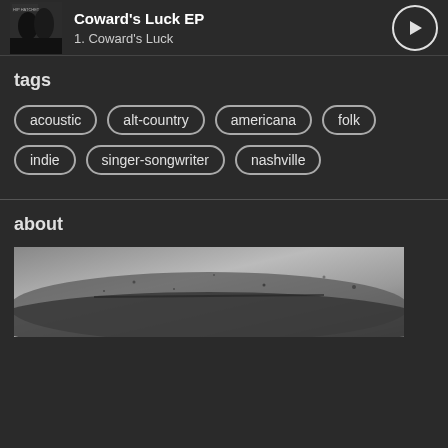Coward's Luck EP — 1. Coward's Luck
tags
acoustic
alt-country
americana
folk
indie
singer-songwriter
nashville
about
[Figure (photo): Black and white photograph, partially visible at bottom of page]